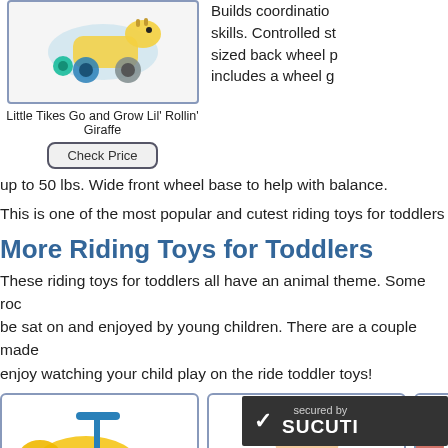[Figure (photo): Little Tikes Go and Grow Lil' Rollin' Giraffe toy product image in a bordered box]
Little Tikes Go and Grow Lil' Rollin' Giraffe
Check Price
Builds coordination skills. Controlled sized back wheel includes a wheel g...
up to 50 lbs. Wide front wheel base to help with balance.
This is one of the most popular and cutest riding toys for toddlers
More Riding Toys for Toddlers
These riding toys for toddlers all have an animal theme. Some roc... be sat on and enjoyed by young children. There are a couple made... enjoy watching your child play on the ride toddler toys!
[Figure (photo): Yellow animal riding toy with blue handle]
[Figure (photo): Smiling child on a riding toy]
[Figure (photo): Partial view of another riding toy]